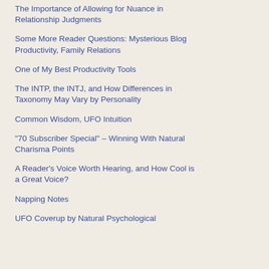The Importance of Allowing for Nuance in Relationship Judgments
Some More Reader Questions: Mysterious Blog Productivity, Family Relations
One of My Best Productivity Tools
The INTP, the INTJ, and How Differences in Taxonomy May Vary by Personality
Common Wisdom, UFO Intuition
"70 Subscriber Special" - Winning With Natural Charisma Points
A Reader's Voice Worth Hearing, and How Cool is a Great Voice?
Napping Notes
UFO Coverup by Natural Psychological